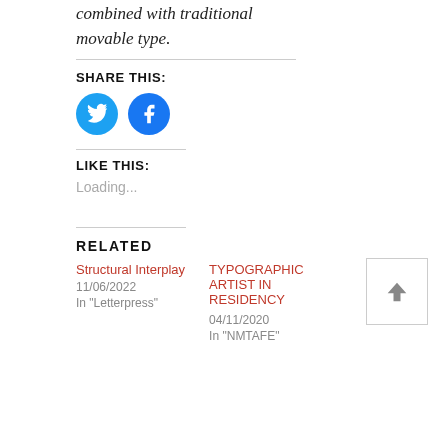combined with traditional movable type.
SHARE THIS:
[Figure (infographic): Twitter and Facebook circular social share buttons in blue]
LIKE THIS:
Loading...
[Figure (other): Up arrow button in a square border]
RELATED
Structural Interplay
11/06/2022
In "Letterpress"
TYPOGRAPHIC ARTIST IN RESIDENCY
04/11/2020
In "NMTAFE"